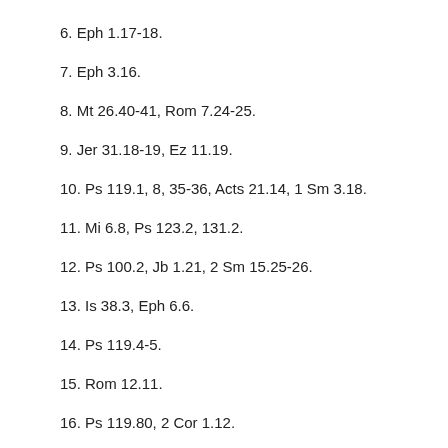6. Eph 1.17-18.
7. Eph 3.16.
8. Mt 26.40-41, Rom 7.24-25.
9. Jer 31.18-19, Ez 11.19.
10. Ps 119.1, 8, 35-36, Acts 21.14, 1 Sm 3.18.
11. Mi 6.8, Ps 123.2, 131.2.
12. Ps 100.2, Jb 1.21, 2 Sm 15.25-26.
13. Is 38.3, Eph 6.6.
14. Ps 119.4-5.
15. Rom 12.11.
16. Ps 119.80, 2 Cor 1.12.